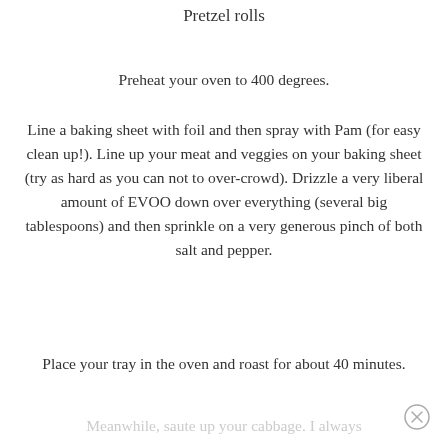Pretzel rolls
Preheat your oven to 400 degrees.
Line a baking sheet with foil and then spray with Pam (for easy clean up!).  Line up your meat and veggies on your baking sheet (try as hard as you can not to over-crowd).  Drizzle a very liberal amount of EVOO down over everything (several big tablespoons) and then sprinkle on a very generous pinch of both salt and pepper.
Place your tray in the oven and roast for about 40 minutes.
Meanwhile, saute up your cabbage.  I always